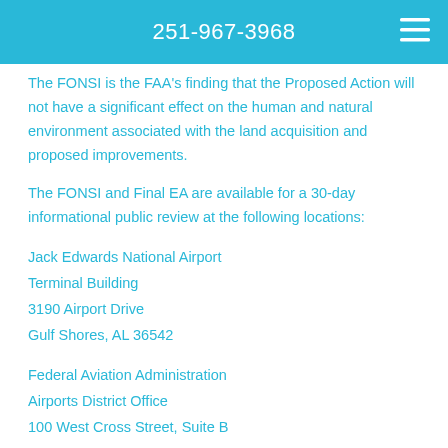251-967-3968
The FONSI is the FAA's finding that the Proposed Action will not have a significant effect on the human and natural environment associated with the land acquisition and proposed improvements.
The FONSI and Final EA are available for a 30-day informational public review at the following locations:
Jack Edwards National Airport
Terminal Building
3190 Airport Drive
Gulf Shores, AL 36542
Federal Aviation Administration
Airports District Office
100 West Cross Street, Suite B